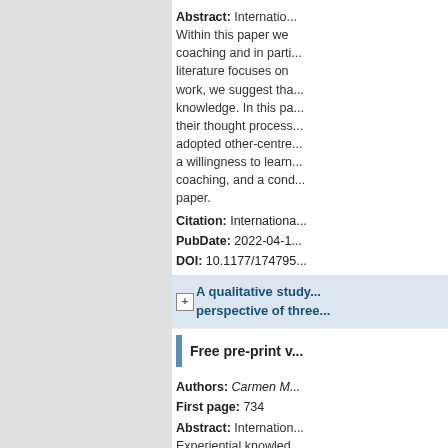Abstract: International... Within this paper we... coaching and in parti... literature focuses on... work, we suggest tha... knowledge. In this pa... their thought process... adopted other-centre... a willingness to learn... coaching, and a cond... paper.
Citation: Internationa... PubDate: 2022-04-1... DOI: 10.1177/174799...
A qualitative study... perspective of three...
Free pre-print v...
Authors: Carmen M... First page: 734
Abstract: International... Experiential knowled... strategies and tactics... World Cup were inter... strategies and tactics... and a thematic analy... constraints and how... tactical kicking game... a turnover. Unsucces...